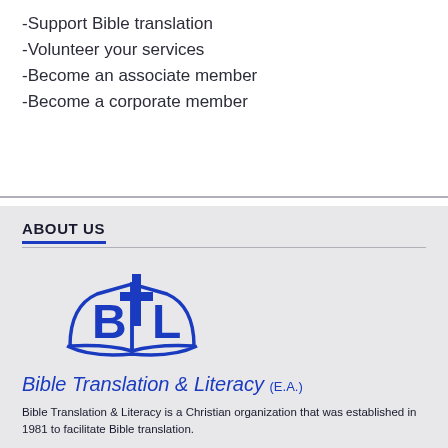-Support Bible translation
-Volunteer your services
-Become an associate member
-Become a corporate member
ABOUT US
[Figure (logo): BTL logo — open book with cross and letters B T L in dark blue]
Bible Translation & Literacy (E.A.)
Bible Translation & Literacy is a Christian organization that was established in 1981 to facilitate Bible translation.